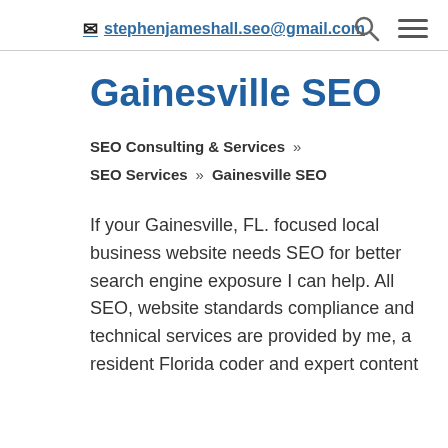✉ stephenjameshall.seo@gmail.com
Gainesville SEO
SEO Consulting & Services  »
SEO Services  »  Gainesville SEO
If your Gainesville, FL. focused local business website needs SEO for better search engine exposure I can help. All SEO, website standards compliance and technical services are provided by me, a resident Florida coder and expert content